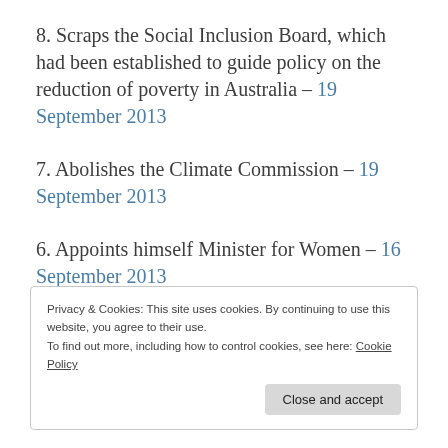8. Scraps the Social Inclusion Board, which had been established to guide policy on the reduction of poverty in Australia – 19 September 2013
7. Abolishes the Climate Commission – 19 September 2013
6. Appoints himself Minister for Women – 16 September 2013
Privacy & Cookies: This site uses cookies. By continuing to use this website, you agree to their use. To find out more, including how to control cookies, see here: Cookie Policy